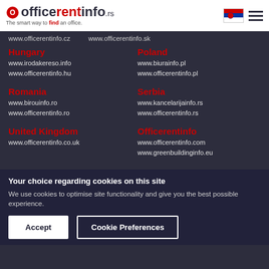officerentinfo.rs - The smart way to find an office.
www.officerentinfo.cz    www.officerentinfo.sk
Hungary
www.irodakereso.info
www.officerentinfo.hu
Poland
www.biurainfo.pl
www.officerentinfo.pl
Romania
www.birouinfo.ro
www.officerentinfo.ro
Serbia
www.kancelarijainfo.rs
www.officerentinfo.rs
United Kingdom
www.officerentinfo.co.uk
Officerentinfo
www.officerentinfo.com
www.greenbuildinginfo.eu
Your choice regarding cookies on this site
We use cookies to optimise site functionality and give you the best possible experience.
Accept    Cookie Preferences